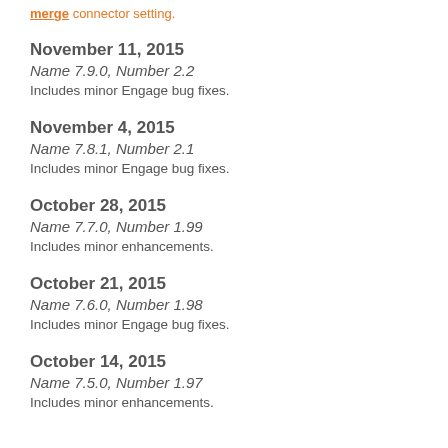merge connector setting.
November 11, 2015
Name 7.9.0, Number 2.2
Includes minor Engage bug fixes.
November 4, 2015
Name 7.8.1, Number 2.1
Includes minor Engage bug fixes.
October 28, 2015
Name 7.7.0, Number 1.99
Includes minor enhancements.
October 21, 2015
Name 7.6.0, Number 1.98
Includes minor Engage bug fixes.
October 14, 2015
Name 7.5.0, Number 1.97
Includes minor enhancements.